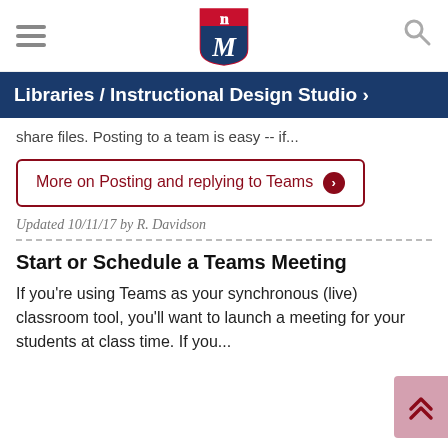[Figure (logo): Davidson College gothic M logo in red and navy]
Libraries / Instructional Design Studio >
share files. Posting to a team is easy -- if...
More on Posting and replying to Teams >
Updated 10/11/17 by R. Davidson
Start or Schedule a Teams Meeting
If you're using Teams as your synchronous (live) classroom tool, you'll want to launch a meeting for your students at class time. If you...